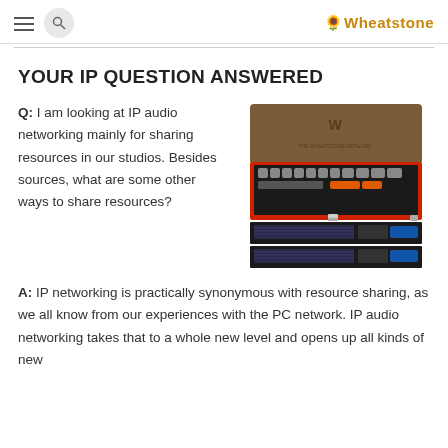Wheatstone
YOUR IP QUESTION ANSWERED
Q: I am looking at IP audio networking mainly for sharing resources in our studios. Besides sources, what are some other ways to share resources?
[Figure (photo): A red metal toolbox open at the top displaying various tools and sockets, stacked on top of what appears to be a rack-mounted audio device with the Wheatstone logo visible.]
A: IP networking is practically synonymous with resource sharing, as we all know from our experiences with the PC network. IP audio networking takes that to a whole new level and opens up all kinds of new